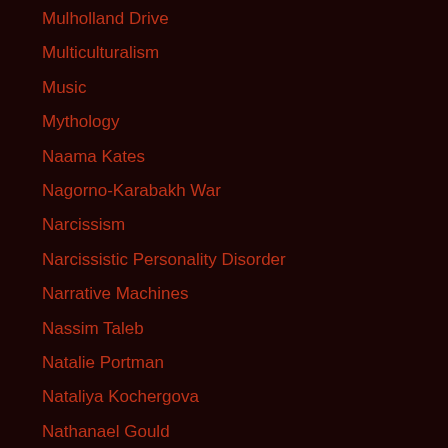Mulholland Drive
Multiculturalism
Music
Mythology
Naama Kates
Nagorno-Karabakh War
Narcissism
Narcissistic Personality Disorder
Narrative Machines
Nassim Taleb
Natalie Portman
Nataliya Kochergova
Nathanael Gould
National Bolshevism
National Capitalism